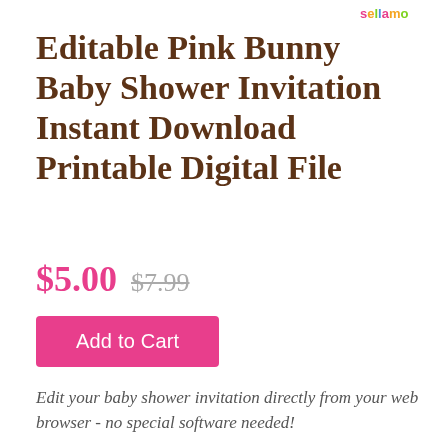[Figure (logo): Colorful logo in top right corner]
Editable Pink Bunny Baby Shower Invitation Instant Download Printable Digital File
$5.00  $7.99
Add to Cart
Edit your baby shower invitation directly from your web browser - no special software needed!
TRY OUR DEMO BEFORE YOU BUY!
Check out our demo at the link below...